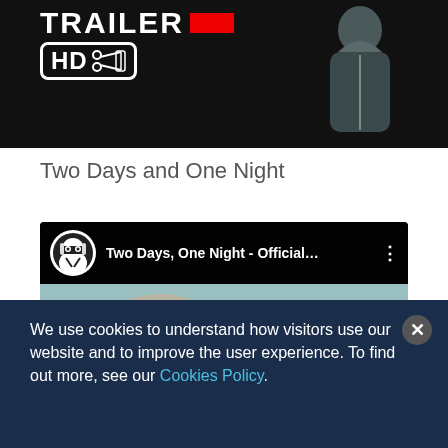[Figure (screenshot): Partial movie trailer thumbnail showing 'TRAILER HD' badge with scissors icon on black background, with a person wearing a dark jacket visible on the right side.]
Two Days and One Night
[Figure (screenshot): YouTube embedded video player showing 'Two Days, One Night - Official...' with a white logo avatar (ninja/wrapped face icon) and three-dot menu icon. Background shows a sunny outdoor scene with a person.]
We use cookies to understand how visitors use our website and to improve the user experience. To find out more, see our Cookies Policy.